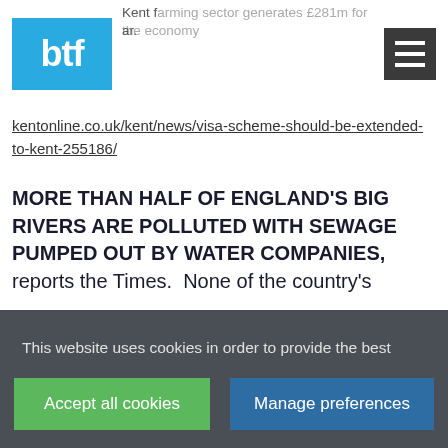btf
Kent farming sector generates £281m for the economy ar.
kentonline.co.uk/kent/news/visa-scheme-should-be-extended-to-kent-255186/
MORE THAN HALF OF ENGLAND'S BIG RIVERS ARE POLLUTED WITH SEWAGE PUMPED OUT BY WATER COMPANIES, reports the Times. None of the country's
This website uses cookies in order to provide the best possible user experience. Without them some features may not work correctly. Please accept all cookies or review your cookie settings.
Accept all cookies
Manage preferences